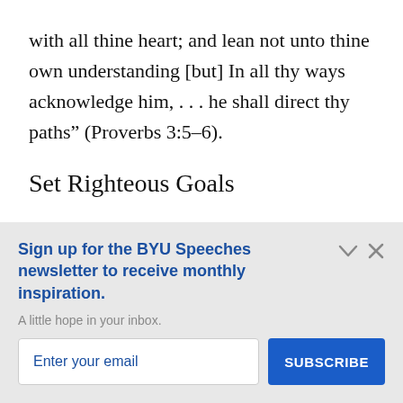with all thine heart; and lean not unto thine own understanding [but] In all thy ways acknowledge him, . . . he shall direct thy paths" (Proverbs 3:5–6).
Set Righteous Goals
Sign up for the BYU Speeches newsletter to receive monthly inspiration.
A little hope in your inbox.
Enter your email
SUBSCRIBE